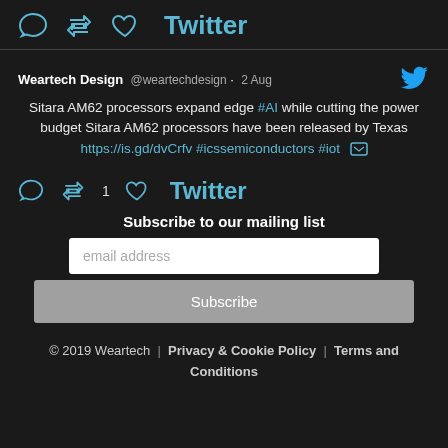[Figure (screenshot): Twitter social media widget showing tweet from Weartech Design with interaction icons (comment, retweet, like) and Twitter logo]
Weartech Design @weartechdesign · 2 Aug
Sitara AM62 processors expand edge #AI while cutting the power budget Sitara AM62 processors have been released by Texas https://is.gd/dvCrfv #icssemiconductors #iot
Subscribe to our mailing list
email address
Subscribe
© 2019 Weartech | Privacy & Cookie Policy | Terms and Conditions